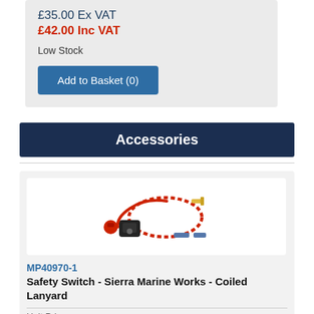£35.00 Ex VAT
£42.00 Inc VAT
Low Stock
Add to Basket (0)
Accessories
[Figure (photo): Safety switch kit with red coiled lanyard, black switch unit, and small connectors]
MP40970-1
Safety Switch - Sierra Marine Works - Coiled Lanyard
Unit Price